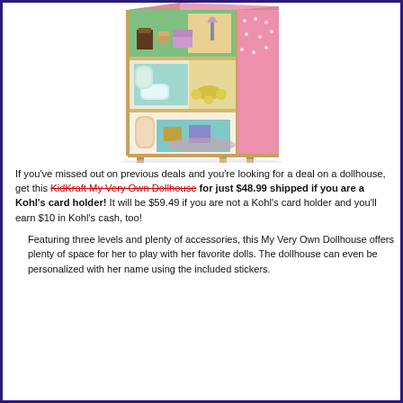[Figure (photo): A KidKraft My Very Own Dollhouse with three floors, furnished with miniature furniture including a pink sofa, bathtub, and dining set, with a pink exterior on the right side.]
If you've missed out on previous deals and you're looking for a deal on a dollhouse, get this KidKraft My Very Own Dollhouse for just $48.99 shipped if you are a Kohl's card holder!  It will be $59.49 if you are not a Kohl's card holder and you'll earn $10 in Kohl's cash, too!
Featuring three levels and plenty of accessories, this My Very Own Dollhouse offers plenty of space for her to play with her favorite dolls. The dollhouse can even be personalized with her name using the included stickers.